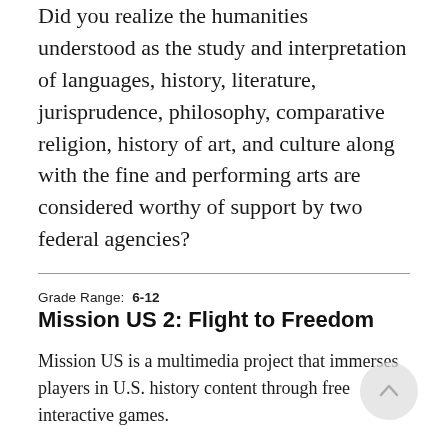Did you realize the humanities understood as the study and interpretation of languages, history, literature, jurisprudence, philosophy, comparative religion, history of art, and culture along with the fine and performing arts are considered worthy of support by two federal agencies?
Grade Range: 6-12
Mission US 2: Flight to Freedom
Mission US is a multimedia project that immerses players in U.S. history content through free interactive games.
In Mission 2: “Flight to Freedom,” players take on the role of Lucy, a 14-year-old slave in Kentucky. As they